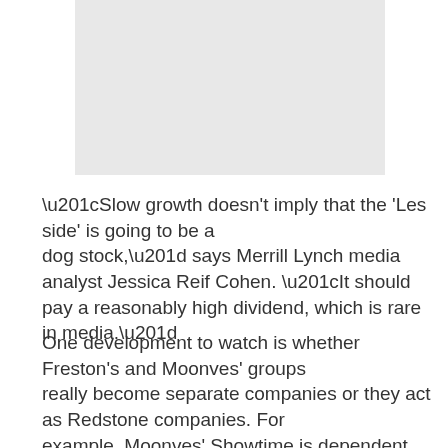[Figure (other): Gray rectangular placeholder image at the top of the page]
“Slow growth doesn't imply that the 'Les side' is going to be a dog stock,” says Merrill Lynch media analyst Jessica Reif Cohen. “It should pay a reasonably high dividend, which is rare in media.”
One development to watch is whether Freston's and Moonves' groups really become separate companies or they act as Redstone companies. For example, Moonves' Showtime is dependent on Freston's Paramount for